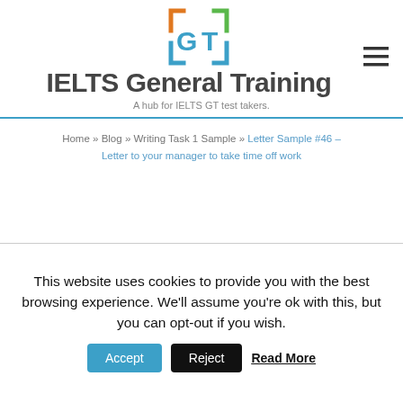[Figure (logo): GT logo with colored bracket squares in orange, green, and blue around letters G and T]
IELTS General Training
A hub for IELTS GT test takers.
Home » Blog » Writing Task 1 Sample » Letter Sample #46 – Letter to your manager to take time off work
This website uses cookies to provide you with the best browsing experience. We'll assume you're ok with this, but you can opt-out if you wish. Accept Reject Read More